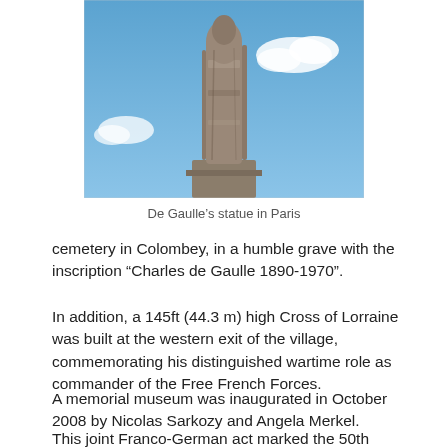[Figure (photo): Close-up photograph of a stone statue (De Gaulle's statue) against a blue sky with clouds. The statue shows a rough-textured, abstract stone figure rising from a pedestal.]
De Gaulle’s statue in Paris
cemetery in Colombey, in a humble grave with the inscription “Charles de Gaulle 1890-1970”.
In addition, a 145ft (44.3 m) high Cross of Lorraine was built at the western exit of the village, commemorating his distinguished wartime role as commander of the Free French Forces.
A memorial museum was inaugurated in October 2008 by Nicolas Sarkozy and Angela Merkel.
This joint Franco-German act marked the 50th